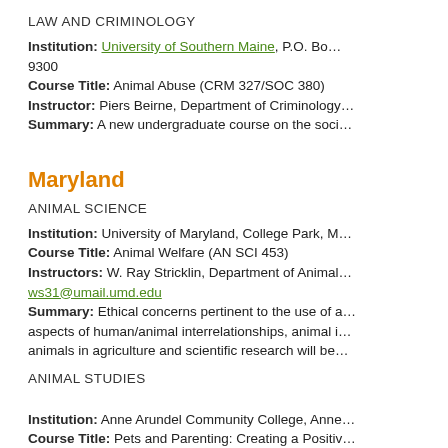LAW AND CRIMINOLOGY
Institution: University of Southern Maine, P.O. Bo... 9300
Course Title: Animal Abuse (CRM 327/SOC 380)
Instructor: Piers Beirne, Department of Criminology
Summary: A new undergraduate course on the soci...
Maryland
ANIMAL SCIENCE
Institution: University of Maryland, College Park, M...
Course Title: Animal Welfare (AN SCI 453)
Instructors: W. Ray Stricklin, Department of Animal... ws31@umail.umd.edu
Summary: Ethical concerns pertinent to the use of a... aspects of human/animal interrelationships, animal i... animals in agriculture and scientific research will be...
ANIMAL STUDIES
Institution: Anne Arundel Community College, Anne...
Course Title: Pets and Parenting: Creating a Positiv...